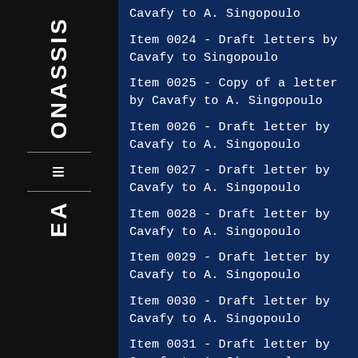ONASSIS
Cavafy to A. Singopoulo
Item 0024 - Draft letters by Cavafy to Singopoulo
Item 0025 - Copy of a letter by Cavafy to A. Singopoulo
Item 0026 - Draft letter by Cavafy to A. Singopoulo
Item 0027 - Draft letter by Cavafy to A. Singopoulo
Item 0028 - Draft letter by Cavafy to A. Singopoulo
Item 0029 - Draft letter by Cavafy to A. Singopoulo
Item 0030 - Draft letter by Cavafy to A. Singopoulo
Item 0031 - Draft letter by Cavafy to A. Singopoulo